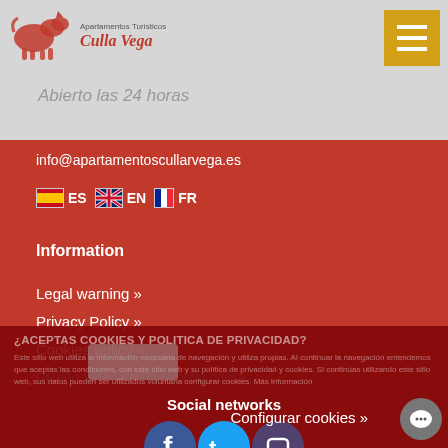[Figure (logo): Apartamentos Turisticos Culla Vega logo with red text and animal figure]
Abierto las 24 horas
info@apartamentoscullarvega.es
🇪🇸 ES 🇬🇧 EN 🇫🇷 FR
Information
Legal warning »
Privacy Policy »
Cookies policy »
Diseño y desarrollo Sybello.com »
¿ACEPTAS COOKIES Y POLITICA DE PRIVACIDAD?
Este sitio web utiliza la información necesaria de navegación y utiliza propias. Al continuar la navegación entendemos que aceptas las condiciones, con este sitio web y su política de privacidad y cookies. Si continúas utilizando este sitio web, sus datos pueden ser utilizados voluntaria configurar cookies. Más información
Social networks
[Figure (other): Facebook, Twitter and another social network icon buttons]
Configurar cookies »